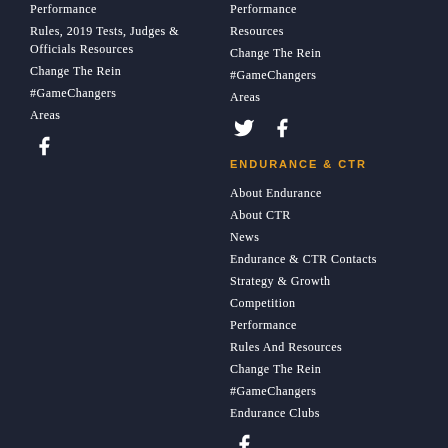Performance
Rules, 2019 Tests, Judges & Officials Resources
Change The Rein
#GameChangers
Areas
[Figure (illustration): Facebook social media icon (white)]
Performance
Resources
Change The Rein
#GameChangers
Areas
[Figure (illustration): Twitter and Facebook social media icons (white)]
ENDURANCE & CTR
About Endurance
About CTR
News
Endurance & CTR Contacts
Strategy & Growth
Competition
Performance
Rules And Resources
Change The Rein
#GameChangers
Endurance Clubs
[Figure (illustration): Facebook social media icon (white)]